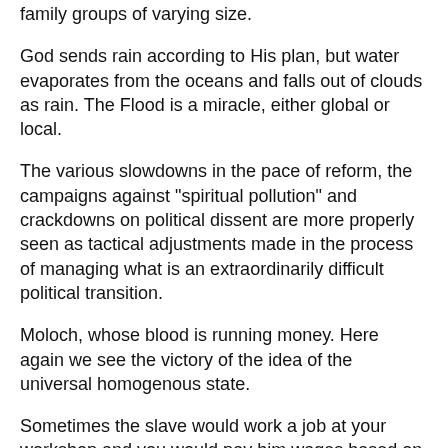family groups of varying size.
God sends rain according to His plan, but water evaporates from the oceans and falls out of clouds as rain. The Flood is a miracle, either global or local.
The various slowdowns in the pace of reform, the campaigns against "spiritual pollution" and crackdowns on political dissent are more properly seen as tactical adjustments made in the process of managing what is an extraordinarily difficult political transition.
Moloch, whose blood is running money. Here again we see the victory of the idea of the universal homogenous state.
Sometimes the slave would work a job at your workshop and you would pay him wages based on how well he did. Why did God bother to create them.